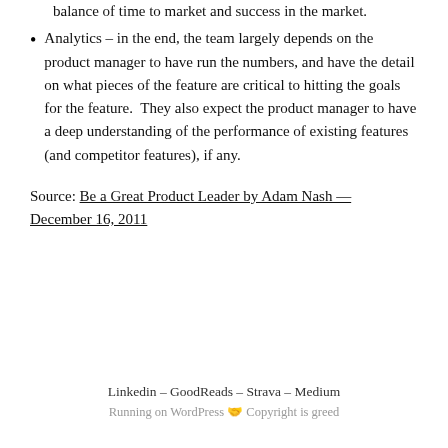balance of time to market and success in the market.
Analytics – in the end, the team largely depends on the product manager to have run the numbers, and have the detail on what pieces of the feature are critical to hitting the goals for the feature.  They also expect the product manager to have a deep understanding of the performance of existing features (and competitor features), if any.
Source: Be a Great Product Leader by Adam Nash — December 16, 2011
Linkedin – GoodReads – Strava – Medium
Running on WordPress 🤝 Copyright is greed